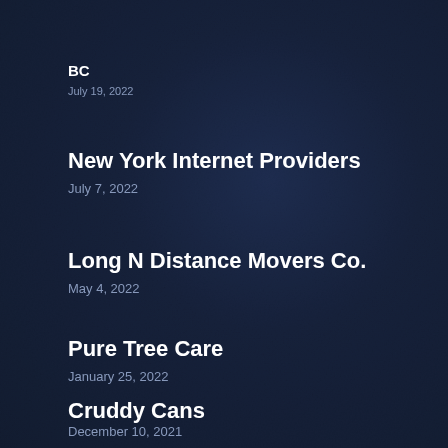BC
July 19, 2022
New York Internet Providers
July 7, 2022
Long N Distance Movers Co.
May 4, 2022
Pure Tree Care
January 25, 2022
Cruddy Cans
December 10, 2021